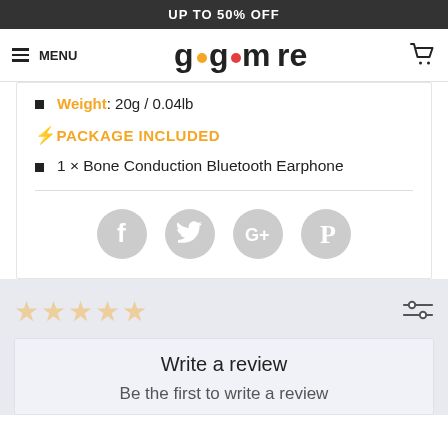UP TO 50% OFF
≡ MENU  go•more  🛒
Weight: 20g / 0.04lb
⚡PACKAGE INCLUDED
1 × Bone Conduction Bluetooth Earphone
[Figure (infographic): Social share icons: Facebook, Twitter, Google+, Pinterest (grey circles)]
Write a review
Be the first to write a review